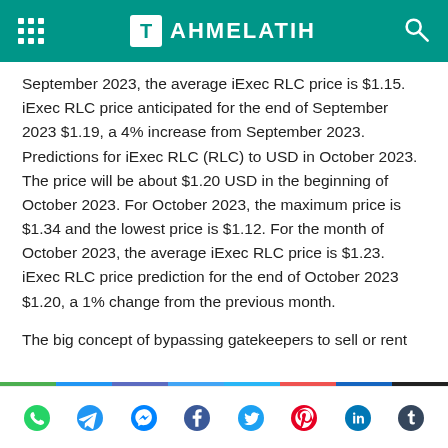TAHMELATIH
September 2023, the average iExec RLC price is $1.15. iExec RLC price anticipated for the end of September 2023 $1.19, a 4% increase from September 2023. Predictions for iExec RLC (RLC) to USD in October 2023. The price will be about $1.20 USD in the beginning of October 2023. For October 2023, the maximum price is $1.34 and the lowest price is $1.12. For the month of October 2023, the average iExec RLC price is $1.23. iExec RLC price prediction for the end of October 2023 $1.20, a 1% change from the previous month.
The big concept of bypassing gatekeepers to sell or rent
Social share icons: WhatsApp, Telegram, Messenger, Facebook, Twitter, Pinterest, LinkedIn, Tumblr